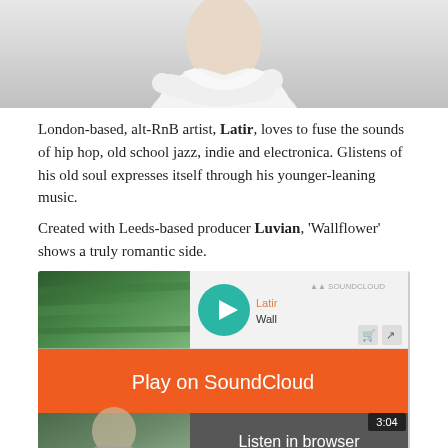[Figure (photo): Photo of artist Latir in a white outfit with arms crossed, cropped at top of page]
London-based, alt-RnB artist, Latir, loves to fuse the sounds of hip hop, old school jazz, indie and electronica. Glistens of his old soul expresses itself through his younger-leaning music.
Created with Leeds-based producer Luvian, 'Wallflower' shows a truly romantic side.
[Figure (screenshot): SoundCloud embedded player for Latir - Wallflower showing Play on SoundCloud button, Listen in browser button, waveform, 3:04 duration, 2.4K plays, and Privacy policy link]
Sounds like: Miller Blue, Ayelle, Joe Hertz, Tom Misch, Miguel
Facebook |Twitter | SoundCloud | Instagram
Mokita – Take It Back Feat. Ella Vos